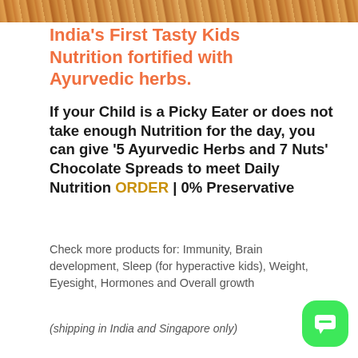[Figure (photo): Top banner with nuts and food items, orange/brown tones]
India's First Tasty Kids Nutrition fortified with Ayurvedic herbs.
If your Child is a Picky Eater or does not take enough Nutrition for the day, you can give '5 Ayurvedic Herbs and 7 Nuts' Chocolate Spreads to meet Daily Nutrition ORDER | 0% Preservative
Check more products for: Immunity, Brain development, Sleep (for hyperactive kids), Weight, Eyesight, Hormones and Overall growth
(shipping in India and Singapore only)